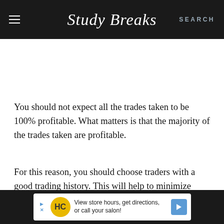Study Breaks | SEARCH
You should not expect all the trades taken to be 100% profitable. What matters is that the majority of the trades taken are profitable.
For this reason, you should choose traders with a good trading history. This will help to minimize losses.
View store hours, get directions, or call your salon!